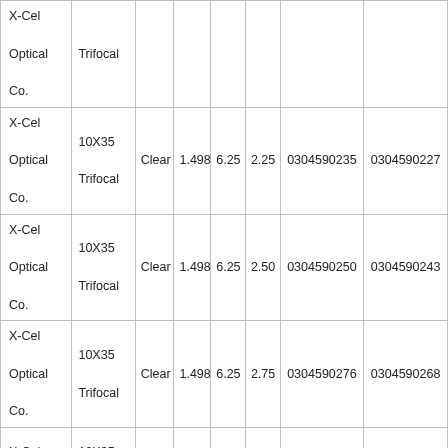| X-Cel Optical Co. | Trifocal |  |  |  |  |  |  |
| X-Cel Optical Co. | 10X35 Trifocal | Clear | 1.498 | 6.25 | 2.25 | 0304590235 | 0304590227 |
| X-Cel Optical Co. | 10X35 Trifocal | Clear | 1.498 | 6.25 | 2.50 | 0304590250 | 0304590243 |
| X-Cel Optical Co. | 10X35 Trifocal | Clear | 1.498 | 6.25 | 2.75 | 0304590276 | 0304590268 |
| X-Cel Optical Co. | 10X35 Trifocal | Clear | 1.498 | 6.25 | 3.00 | 0304590292 | 0304590284 |